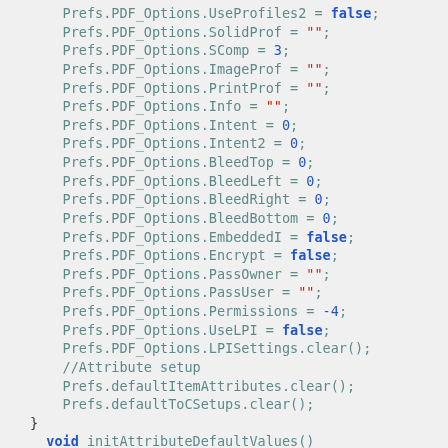[Figure (other): Source code snippet showing PDF options and attribute setup in a programming context, using monospace font with syntax highlighting (teal for identifiers, blue/bold for keywords, red for strings)]